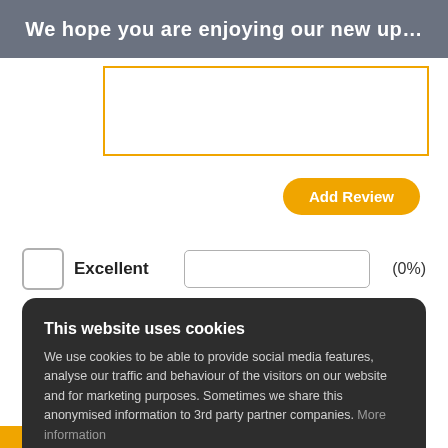We hope you are enjoying our new up…
[Figure (screenshot): Text area input box with orange border]
[Figure (screenshot): Add Review button (orange rounded rectangle)]
Excellent (0%)
Great (0%)
This website uses cookies
We use cookies to be able to provide social media features, analyse our traffic and behaviour of the visitors on our website and for marketing purposes. Sometimes we share this anonymised information to 3rd party partner companies. More information
I accept all Cookies   Change settings